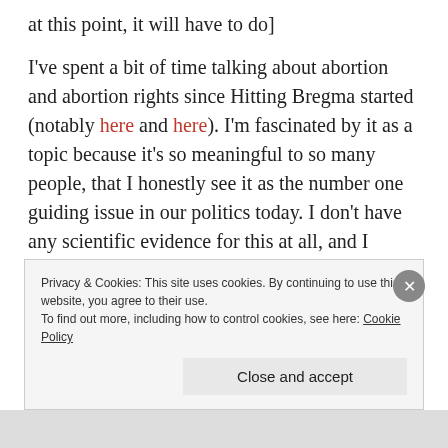at this point, it will have to do]
I've spent a bit of time talking about abortion and abortion rights since Hitting Bregma started (notably here and here). I'm fascinated by it as a topic because it's so meaningful to so many people, that I honestly see it as the number one guiding issue in our politics today. I don't have any scientific evidence for this at all, and I would enjoy being shown that it's not true, but I think the abortion question actually drives
Privacy & Cookies: This site uses cookies. By continuing to use this website, you agree to their use.
To find out more, including how to control cookies, see here: Cookie Policy
Close and accept